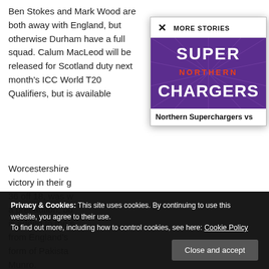Ben Stokes and Mark Wood are both away with England, but otherwise Durham have a full squad. Calum MacLeod will be released for Scotland duty next month's ICC World T20 Qualifiers, but is available
Worcestershire victory in their g 36 off 18, was w a precaution, bu is added to the s from England's form of Pakista Munro.
MORE STORIES
[Figure (logo): Northern Superchargers team logo on purple background with lightning bolt rays. Text reads 'SUPER NORTHERN CHARGERS' in white and orange.]
Northern Superchargers vs
Privacy & Cookies: This site uses cookies. By continuing to use this website, you agree to their use.
To find out more, including how to control cookies, see here: Cookie Policy